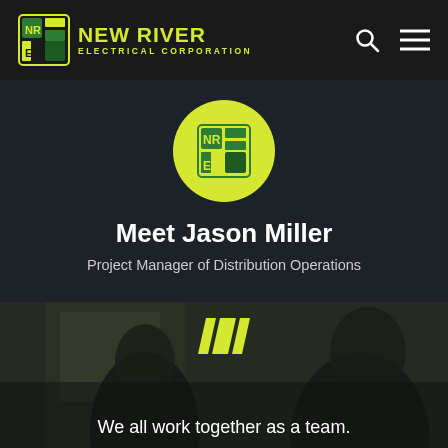NEW RIVER ELECTRICAL CORPORATION
[Figure (logo): New River Electrical Corporation logo with NRC icon in green and yellow, company name in yellow-green text on dark background]
Meet Jason Miller
Project Manager of Distribution Operations
[Figure (photo): Dark background photo showing silhouettes of two people in an industrial/office setting]
We all work together as a team.